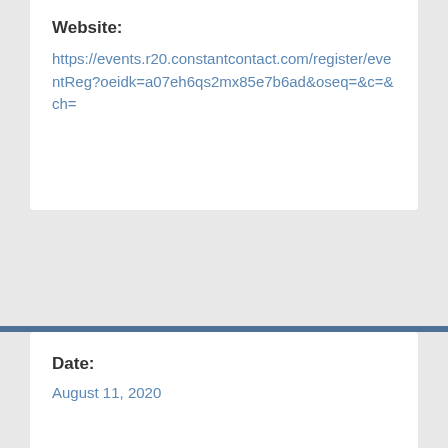Website:
https://events.r20.constantcontact.com/register/eventReg?oeidk=a07eh6qs2mx85e7b6ad&oseq=&c=&ch=
Date:
August 11, 2020